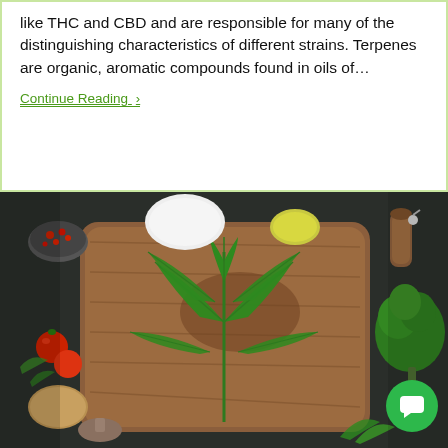Terpenes are co-extracted alongside cannabinoids like THC and CBD and are responsible for many of the distinguishing characteristics of different strains. Terpenes are organic, aromatic compounds found in oils of…
Continue Reading ›
[Figure (photo): A cannabis leaf placed on a wooden cutting board surrounded by various vegetables and spices including tomatoes, broccoli, mushrooms, potatoes, peppers, and herbs on a dark background.]